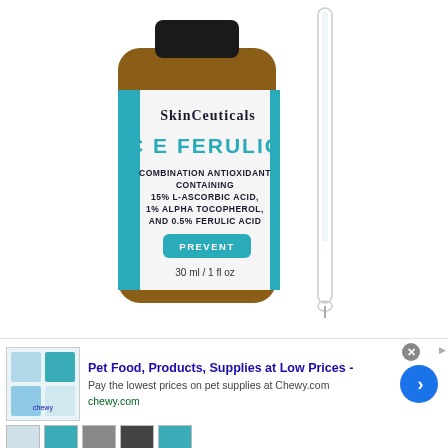[Figure (photo): SkinCeuticals C E Ferulic serum bottle (amber glass with white label showing: SkinCeuticals, C E FERULIC trademark, Combination Antioxidant Containing 15% L-Ascorbic Acid, 1% Alpha Tocopherol, and 0.5% Ferulic Acid, PREVENT button, 30 ml / 1 fl oz) with a glass dropper beside it, on white background]
[Figure (screenshot): Advertisement for Chewy.com: Pet Food, Products, Supplies at Low Prices - Pay the lowest prices on pet supplies at Chewy.com. chewy.com. Blue circular arrow button. Ad thumbnail images showing pet products. Below: small thumbnail images of related items.]